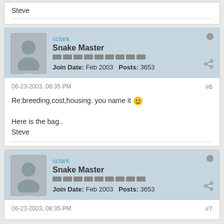Steve
sclark
Snake Master
Join Date: Feb 2003   Posts: 3653
06-23-2003, 08:35 PM   #6
Re:breeding,cost,housing. you name it
Here is the bag..
Steve
sclark
Snake Master
Join Date: Feb 2003   Posts: 3653
06-23-2003, 08:35 PM   #7